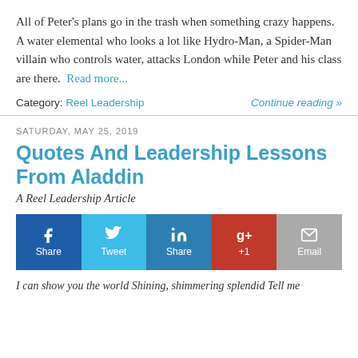All of Peter's plans go in the trash when something crazy happens. A water elemental who looks a lot like Hydro-Man, a Spider-Man villain who controls water, attacks London while Peter and his class are there.  Read more...
Category: Reel Leadership    Continue reading »
SATURDAY, MAY 25, 2019
Quotes And Leadership Lessons From Aladdin
A Reel Leadership Article
[Figure (infographic): Social sharing buttons: Facebook Share, Twitter Tweet, LinkedIn Share, Google+ +1, Email]
I can show you the world Shining, shimmering splendid Tell me